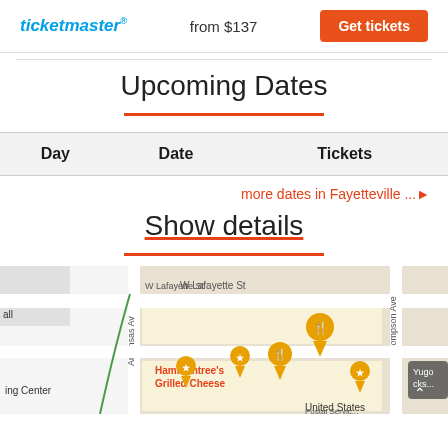[Figure (screenshot): Ticketmaster widget with logo, 'from $137' price, and orange 'Get tickets' button]
Upcoming Dates
| Day | Date | Tickets |
| --- | --- | --- |
more dates in Fayetteville ... ▶
Show details
[Figure (map): Street map showing W Lafayette St, Arkansas Ave, Thompson Ave, Boles St area in Fayetteville with restaurant pins including Hammontree's Grilled Cheese]